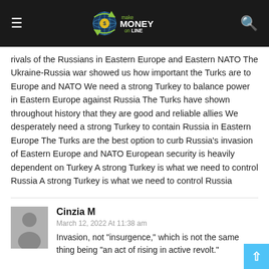make MONEY on LINE
rivals of the Russians in Eastern Europe and Eastern NATO The Ukraine-Russia war showed us how important the Turks are to Europe and NATO We need a strong Turkey to balance power in Eastern Europe against Russia The Turks have shown throughout history that they are good and reliable allies We desperately need a strong Turkey to contain Russia in Eastern Europe The Turks are the best option to curb Russia's invasion of Eastern Europe and NATO European security is heavily dependent on Turkey A strong Turkey is what we need to control Russia A strong Turkey is what we need to control Russia
Cinzia M
March 12, 2022 At 11:38 am
Invasion, not "insurgence," which is not the same thing being "an act of rising in active revolt."